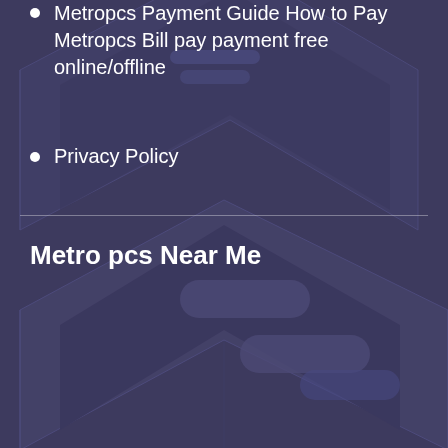Metropcs Payment Guide How to Pay Metropcs Bill pay payment free online/offline
Privacy Policy
[Figure (illustration): Isometric illustration of a smartphone with placeholder UI elements (rounded rectangles) on a dark purple/indigo background]
Metro pcs Near Me